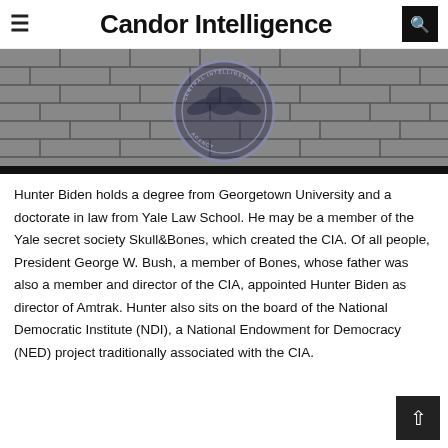Candor Intelligence
[Figure (photo): CIA seal / emblem overlaid on a brick wall background, dark and desaturated tones.]
Hunter Biden holds a degree from Georgetown University and a doctorate in law from Yale Law School. He may be a member of the Yale secret society Skull&Bones, which created the CIA. Of all people, President George W. Bush, a member of Bones, whose father was also a member and director of the CIA, appointed Hunter Biden as director of Amtrak. Hunter also sits on the board of the National Democratic Institute (NDI), a National Endowment for Democracy (NED) project traditionally associated with the CIA.